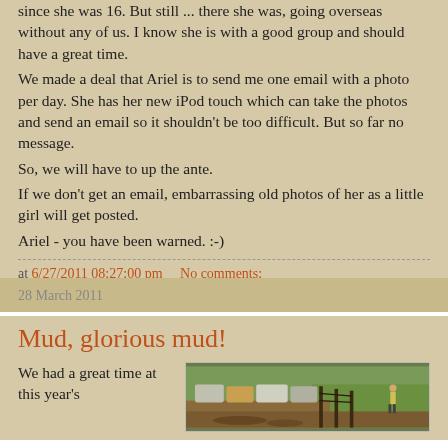since she was 16.  But still ... there she was, going overseas without any of us.  I know she is with a good group and should have a great time.
We made a deal that Ariel is to send me one email with a photo per day.  She has her new iPod touch which can take the photos and send an email so it shouldn't be too difficult.  But so far no message.
So, we will have to up the ante.
If we don't get an email, embarrassing old photos of her as a little girl will get posted.
Ariel - you have been warned. :-)
at 6/27/2011 08:27:00 pm    No comments:
28 March 2011
Mud, glorious mud!
We had a great time at this year's
[Figure (photo): Outdoor scene with cars parked in a muddy field, with a fence and green grass area visible]